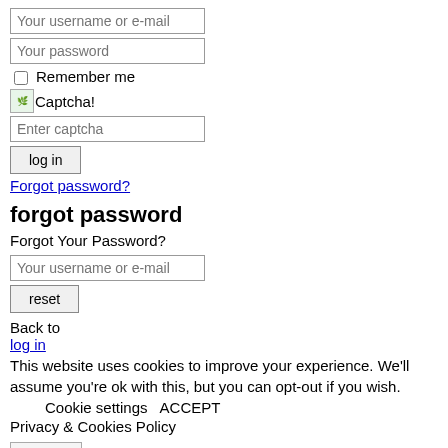[Figure (screenshot): Login form with username/email input, password input, remember me checkbox, captcha image and input, log in button, and forgot password link]
forgot password
Forgot Your Password?
[Figure (screenshot): Username or e-mail input field and reset button for forgot password form]
Back to
log in
This website uses cookies to improve your experience. We'll assume you're ok with this, but you can opt-out if you wish.
Cookie settings      ACCEPT
Privacy & Cookies Policy
[Figure (screenshot): Close button with X mark]